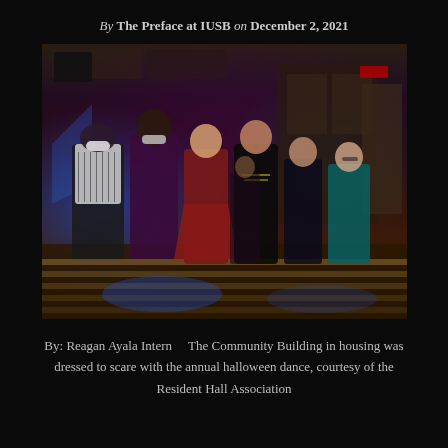By The Preface at IUSB on December 2, 2021
[Figure (photo): People dancing at an indoor event with blue and purple lighting on a wood-stripe dance floor. One person wears a mask. People are dressed in various outfits and appear to be doing a line dance.]
By: Reagan Ayala Intern    The Community Building in housing was dressed to scare with the annual halloween dance, courtesy of the Resident Hall Association